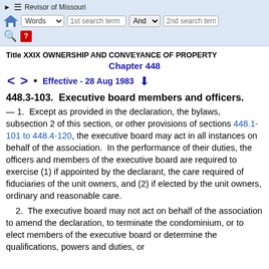Revisor of Missouri — Words | 1st search term | And | 2nd search term
Title XXIX OWNERSHIP AND CONVEYANCE OF PROPERTY
Chapter 448
< >  •  Effective - 28 Aug 1983  ↓
448.3-103. Executive board members and officers.
— 1.  Except as provided in the declaration, the bylaws, subsection 2 of this section, or other provisions of sections 448.1-101 to 448.4-120, the executive board may act in all instances on behalf of the association.  In the performance of their duties, the officers and members of the executive board are required to exercise (1) if appointed by the declarant, the care required of fiduciaries of the unit owners, and (2) if elected by the unit owners, ordinary and reasonable care.
2.  The executive board may not act on behalf of the association to amend the declaration, to terminate the condominium, or to elect members of the executive board or determine the qualifications, powers and duties, or